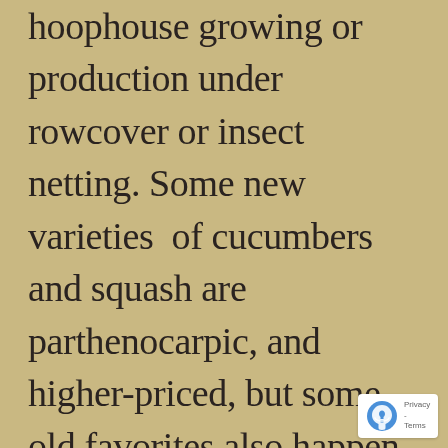hoophouse growing or production under rowcover or insect netting. Some new varieties  of cucumbers and squash are parthenocarpic, and higher-priced, but some old favorites also happen to be parthenocarpic, Little Leaf pickling cucumber, f